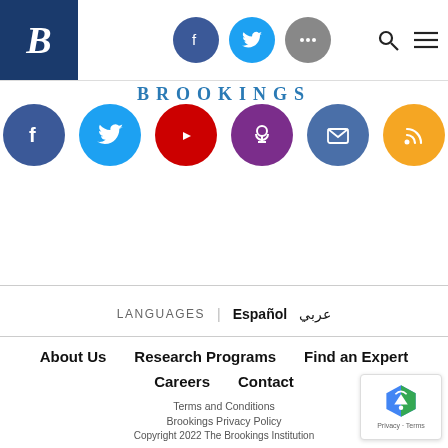[Figure (logo): Brookings Institution logo: dark blue square with white italic B letter]
[Figure (screenshot): Top navigation bar with Facebook, Twitter, and more social icons, plus search and menu icons]
[Figure (infographic): Brookings wordmark in blue text, large social media circles: Facebook (blue), Twitter (cyan), YouTube (red), Podcast (purple), Email (dark blue), RSS (orange)]
LANGUAGES | Español عربي
About Us   Research Programs   Find an Expert   Careers   Contact
Terms and Conditions
Brookings Privacy Policy
Copyright 2022 The Brookings Institution